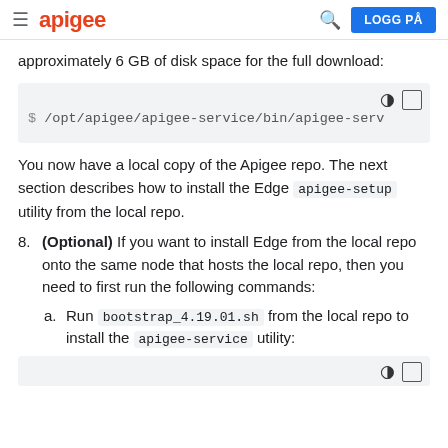apigee  LOGG PÅ
approximately 6 GB of disk space for the full download:
[Figure (screenshot): Code block showing: $ /opt/apigee/apigee-service/bin/apigee-serv]
You now have a local copy of the Apigee repo. The next section describes how to install the Edge apigee-setup utility from the local repo.
8. (Optional) If you want to install Edge from the local repo onto the same node that hosts the local repo, then you need to first run the following commands:
a. Run bootstrap_4.19.01.sh from the local repo to install the apigee-service utility:
[Figure (screenshot): Bottom of code block with icons visible]